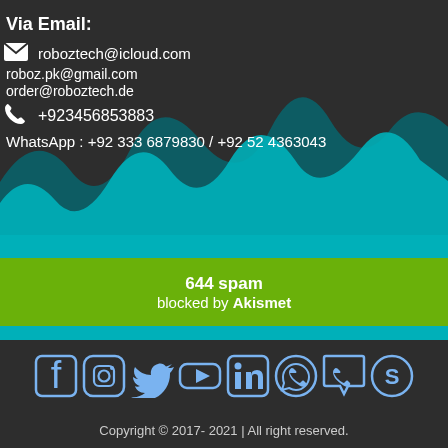Via Email:
roboztech@icloud.com
roboz.pk@gmail.com
order@roboztech.de
+923456853883
WhatsApp : +92 333 6879830 / +92 52 4363043
[Figure (illustration): Teal and dark blue mountain wave shapes as decorative background]
644 spam blocked by Akismet
[Figure (infographic): Social media icons: Facebook, Instagram, Twitter, YouTube, LinkedIn, WhatsApp, WhatsApp, Skype]
Copyright © 2017- 2021 | All right reserved.